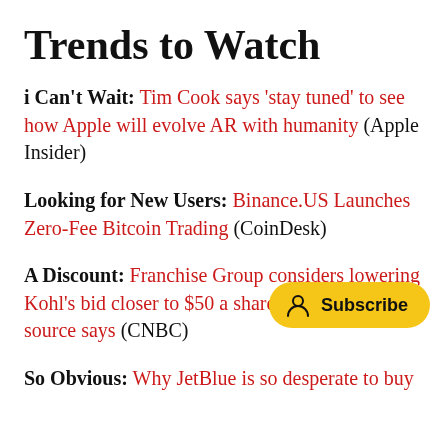Trends to Watch
i Can't Wait: Tim Cook says 'stay tuned' to see how Apple will evolve AR with humanity (Apple Insider)
Looking for New Users: Binance.US Launches Zero-Fee Bitcoin Trading (CoinDesk)
A Discount: Franchise Group considers lowering Kohl's bid closer to $50 a share from about $60, source says (CNBC)
So Obvious: Why JetBlue is so desperate to buy